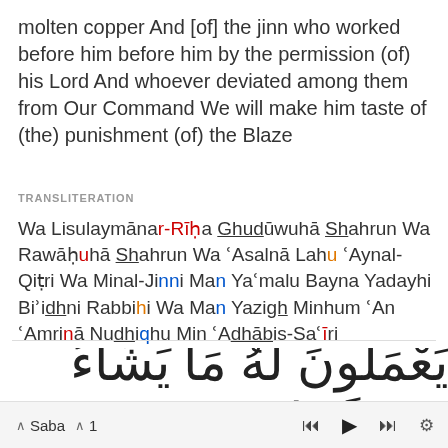molten copper And [of] the jinn who worked before him before him by the permission (of) his Lord And whoever deviated among them from Our Command We will make him taste of (the) punishment (of) the Blaze
TRANSLITERATION
Wa Lisulaymānar-Rīḥa Ghudūwuhā Shahrun Wa Rawāḥuhā Shahrun Wa ʿAsalnā Lahu ʿAynal-Qiṭri Wa Minal-Jinni Man Yaʿmalu Bayna Yadayhi Biʾidhni Rabbihi Wa Man Yazigh Minhum ʿAn ʿAmrinā Nudhiqhu Min ʿAdhābis-Saʿīri
[Figure (other): Arabic script text at bottom of page]
^ Saba ^ 1  |◄  ▶  ►|  ⚙